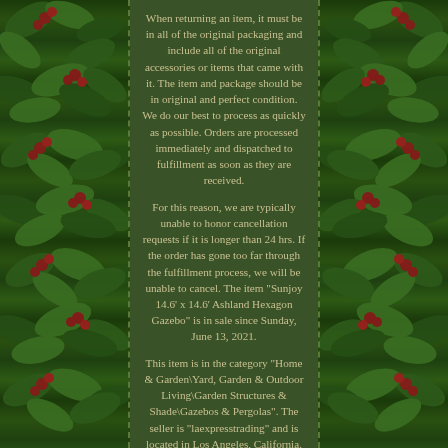When returning an item, it must be in all of the original packaging and include all of the original accessories or items that came with it. The item and package should be in original and perfect condition. We do our best to process as quickly as possible. Orders are processed immediately and dispatched to fulfillment as soon as they are received.
For this reason, we are typically unable to honor cancellation requests if it is longer than 24 hrs. If the order has gone too far through the fulfillment process, we will be unable to cancel. The item "Sunjoy 14.6' x 14.6' Ashland Hexagon Gazebo" is in sale since Sunday, June 13, 2021.
This item is in the category "Home & Garden\Yard, Garden & Outdoor Living\Garden Structures & Shade\Gazebos & Pergolas". The seller is "laexpresstrading" and is located in Los Angeles, California. This item can be shipped to United States.
Type: Gazebo Color: Gray MPN: A102009700 Model: A102009700 UPC: Does not Apply EAN: Does not Apply Frame Material: Aluminum Brand: Sunjoy